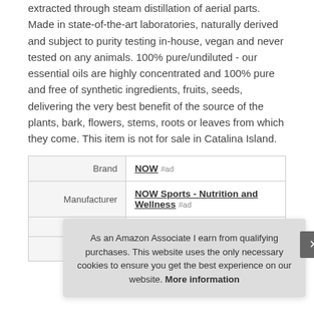extracted through steam distillation of aerial parts. Made in state-of-the-art laboratories, naturally derived and subject to purity testing in-house, vegan and never tested on any animals. 100% pure/undiluted - our essential oils are highly concentrated and 100% pure and free of synthetic ingredients, fruits, seeds, delivering the very best benefit of the source of the plants, bark, flowers, stems, roots or leaves from which they come. This item is not for sale in Catalina Island.
|  |  |
| --- | --- |
| Brand | NOW #ad |
| Manufacturer | NOW Sports - Nutrition and Wellness #ad |
|  |  |
|  |  |
As an Amazon Associate I earn from qualifying purchases. This website uses the only necessary cookies to ensure you get the best experience on our website. More information